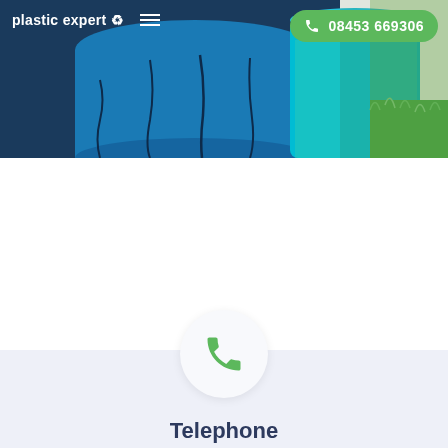[Figure (screenshot): Hero image showing blue and teal plastic barrels/containers on the left side and green grass on the right side, serving as the website header background]
plastic expert ↺  ≡  08453 669306
[Figure (illustration): Green phone/telephone handset icon inside a white circular button on a light blue-grey background section]
Telephone